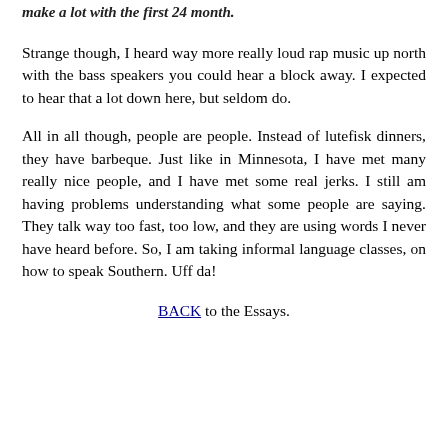make a lot with the first 24 month.
Strange though, I heard way more really loud rap music up north with the bass speakers you could hear a block away. I expected to hear that a lot down here, but seldom do.
All in all though, people are people. Instead of lutefisk dinners, they have barbeque. Just like in Minnesota, I have met many really nice people, and I have met some real jerks. I still am having problems understanding what some people are saying. They talk way too fast, too low, and they are using words I never have heard before. So, I am taking informal language classes, on how to speak Southern. Uff da!
BACK to the Essays.